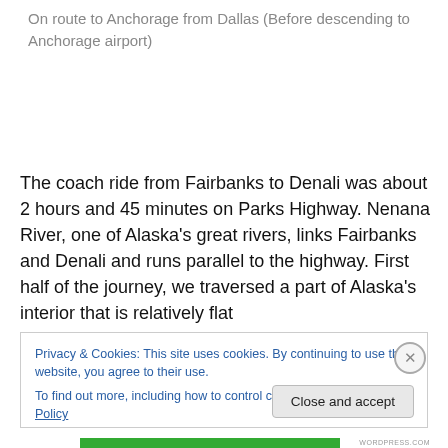On route to Anchorage from Dallas (Before descending to Anchorage airport)
The coach ride from Fairbanks to Denali was about 2 hours and 45 minutes on Parks Highway. Nenana River, one of Alaska's great rivers, links Fairbanks and Denali and runs parallel to the highway. First half of the journey, we traversed a part of Alaska's interior that is relatively flat
Privacy & Cookies: This site uses cookies. By continuing to use this website, you agree to their use.
To find out more, including how to control cookies, see here: Cookie Policy